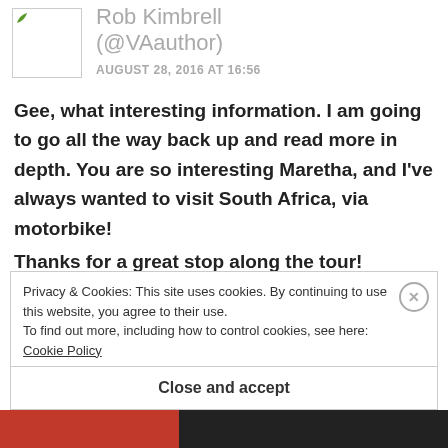Rob Kimbrell (@VAauthor)
AUGUST 28, 2016 AT 16:56
Gee, what interesting information. I am going to go all the way back up and read more in depth. You are so interesting Maretha, and I've always wanted to visit South Africa, via motorbike!
Thanks for a great stop along the tour!
Privacy & Cookies: This site uses cookies. By continuing to use this website, you agree to their use.
To find out more, including how to control cookies, see here: Cookie Policy
Close and accept